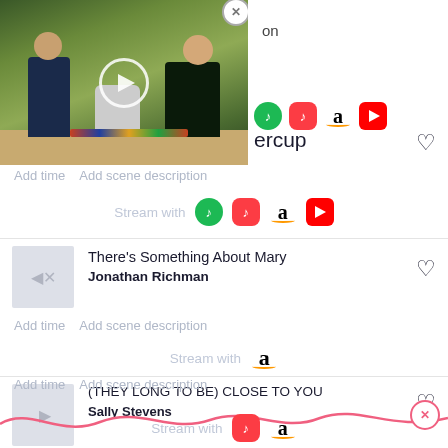[Figure (photo): Video player overlay showing two people sitting at what appears to be a gravestone in a park/cemetery setting with trees in background. Has a play button overlay and close (X) button.]
ercup
Stream with [Spotify] [Apple Music] [Amazon] [YouTube]
Add time  Add scene description
Stream with [Spotify] [Apple Music] [Amazon] [YouTube]
There's Something About Mary
Jonathan Richman
Add time  Add scene description
Stream with [Amazon]
(THEY LONG TO BE) CLOSE TO YOU
Sally Stevens
Add time  Add scene description
Stream with [Apple Music] [Amazon]